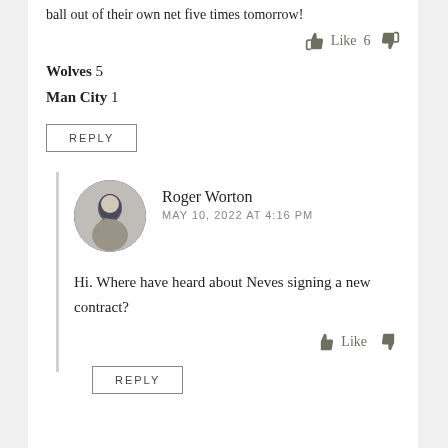ball out of their own net five times tomorrow!
Like 6
Wolves 5
Man City 1
REPLY
Roger Worton
MAY 10, 2022 AT 4:16 PM
Hi. Where have heard about Neves signing a new contract?
Like
REPLY